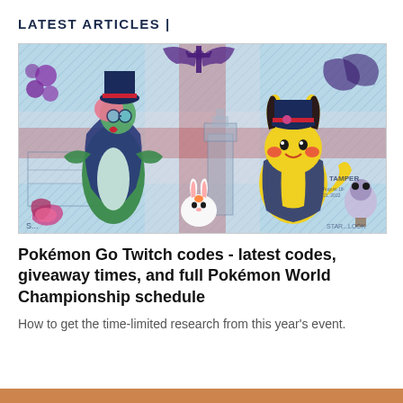LATEST ARTICLES |
[Figure (illustration): Pokemon World Championship artwork featuring Gardevoir in top hat and cape, Pikachu in formal attire, Scorbunny, and other Pokemon characters against a London-themed background with Union Jack cross pattern]
Pokémon Go Twitch codes - latest codes, giveaway times, and full Pokémon World Championship schedule
How to get the time-limited research from this year's event.